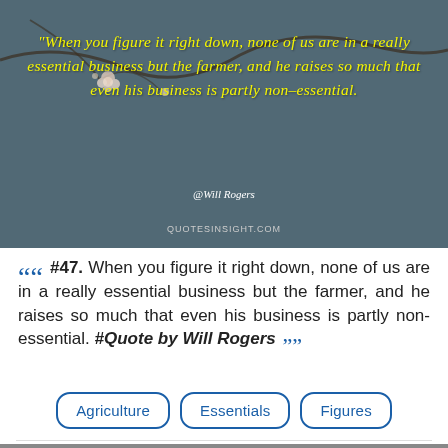[Figure (photo): Quote card image with a blue-grey bokeh background showing tree branches with small flowers. Yellow italic cursive text overlays the image with the Will Rogers quote. Attribution '@Will Rogers' in white italic. Watermark 'QUOTESINSIGHT.COM' at the bottom.]
““ #47. When you figure it right down, none of us are in a really essential business but the farmer, and he raises so much that even his business is partly non-essential. #Quote by Will Rogers ””
Agriculture
Essentials
Figures